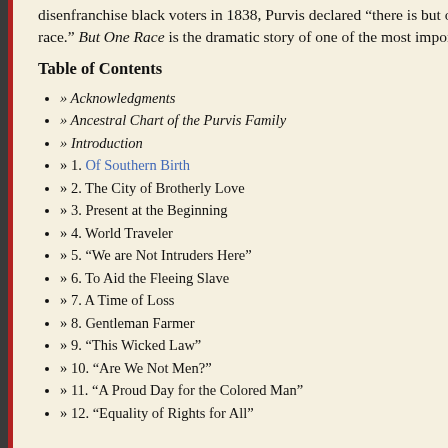disenfranchise black voters in 1838, Purvis declared “there is but one race, the human race.” But One Race is the dramatic story of one of the most important figures of his time.
Table of Contents
» Acknowledgments
» Ancestral Chart of the Purvis Family
» Introduction
» 1. Of Southern Birth
» 2. The City of Brotherly Love
» 3. Present at the Beginning
» 4. World Traveler
» 5. “We are Not Intruders Here”
» 6. To Aid the Fleeing Slave
» 7. A Time of Loss
» 8. Gentleman Farmer
» 9. “This Wicked Law”
» 10. “Are We Not Men?”
» 11. “A Proud Day for the Colored Man”
» 12. “Equality of Rights for All”